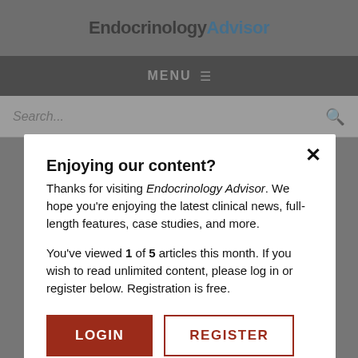EndocrinologyAdvisor
MENU
Search...
Enjoying our content?
Thanks for visiting Endocrinology Advisor. We hope you’re enjoying the latest clinical news, full-length features, case studies, and more.
You’ve viewed 1 of 5 articles this month. If you wish to read unlimited content, please log in or register below. Registration is free.
LOGIN
REGISTER